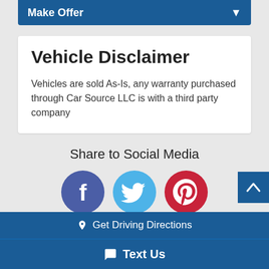Make Offer
Vehicle Disclaimer
Vehicles are sold As-Is, any warranty purchased through Car Source LLC is with a third party company
Share to Social Media
[Figure (illustration): Three social media icon buttons: Facebook (blue/indigo circle with f), Twitter (light blue circle with bird), Pinterest (red circle with P)]
Visit Us
Get Driving Directions
Text Us